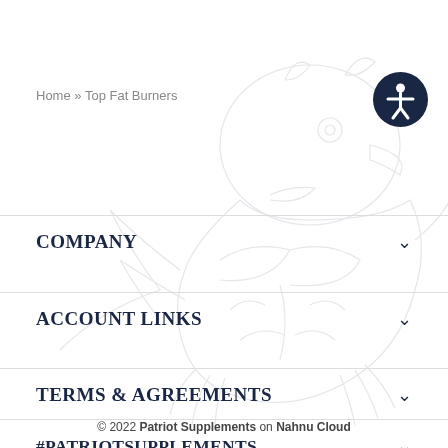Home » Top Fat Burners
COMPANY
ACCOUNT LINKS
TERMS & AGREEMENTS
#PATRIOTSUPPLEMENTS
© 2022 Patriot Supplements on Nahnu Cloud